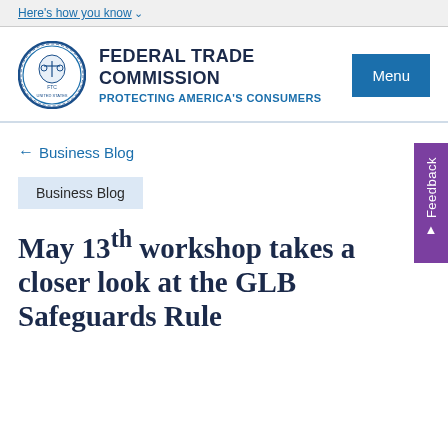Here's how you know
[Figure (logo): Federal Trade Commission circular seal logo with scales of justice]
FEDERAL TRADE COMMISSION
PROTECTING AMERICA'S CONSUMERS
Menu
← Business Blog
Feedback
Business Blog
May 13th workshop takes a closer look at the GLB Safeguards Rule